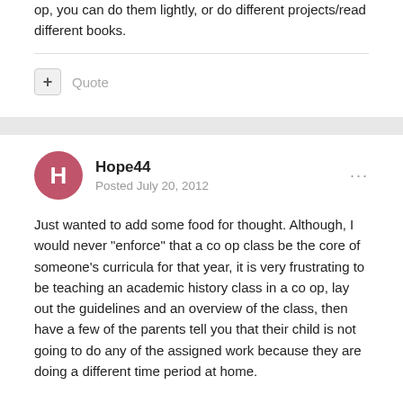op, you can do them lightly, or do different projects/read different books.
Quote
Hope44
Posted July 20, 2012
Just wanted to add some food for thought. Although, I would never "enforce" that a co op class be the core of someone's curricula for that year, it is very frustrating to be teaching an academic history class in a co op, lay out the guidelines and an overview of the class, then have a few of the parents tell you that their child is not going to do any of the assigned work because they are doing a different time period at home.
If the class is laid out where the bulk of the reading and research is to be done at home and then the class meets once a week to go over the projects, papers, assignments and do activities based on those things,